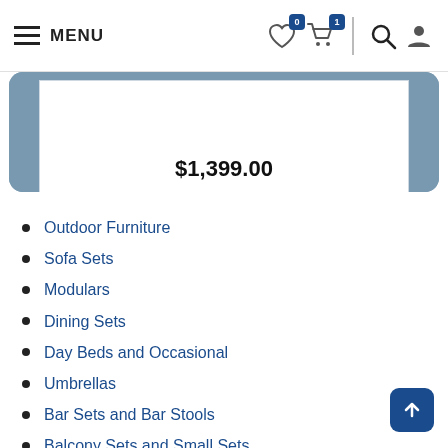MENU | Navigation bar with hamburger menu, wishlist (0), cart (1), search, and user icons
[Figure (screenshot): Product display card showing price $1,399.00 on a blue-grey framed panel]
Outdoor Furniture
Sofa Sets
Modulars
Dining Sets
Day Beds and Occasional
Umbrellas
Bar Sets and Bar Stools
Balcony Sets and Small Sets
Chairs